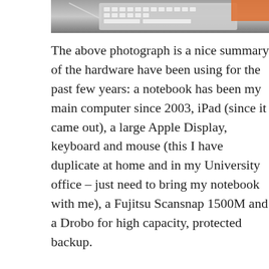[Figure (photo): Partial photograph showing a keyboard and desk hardware setup, cropped at top of page.]
The above photograph is a nice summary of the hardware have been using for the past few years: a notebook has been my main computer since 2003, iPad (since it came out), a large Apple Display, keyboard and mouse (this I have duplicate at home and in my University office – just need to bring my notebook with me), a Fujitsu Scansnap 1500M and a Drobo for high capacity, protected backup.
For a long time I have been a unix / linux user. As such, I used to have a Mac at home, a windows box at work which dual boot into linux (for real work!). When OS X came out, I have started to use